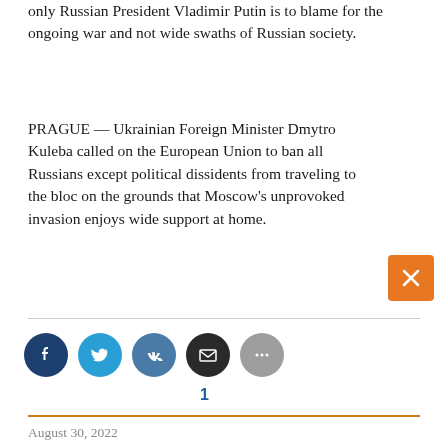only Russian President Vladimir Putin is to blame for the ongoing war and not wide swaths of Russian society.
PRAGUE –– Ukrainian Foreign Minister Dmytro Kuleba called on the European Union to ban all Russians except political dissidents from traveling to the bloc on the grounds that Moscow's unprovoked invasion enjoys wide support at home.
1
August 30, 2022